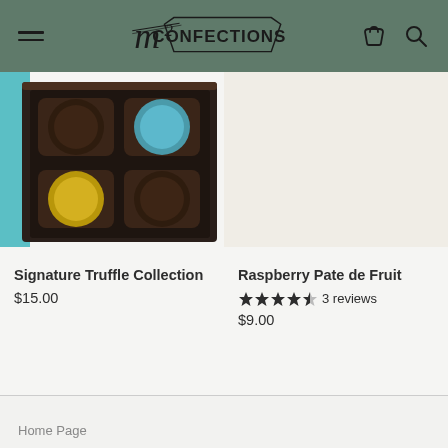m2 Confections
[Figure (photo): Chocolate truffle collection in a dark box with colorful truffles visible]
[Figure (photo): Plain beige/cream background product image for Raspberry Pate de Fruit]
Signature Truffle Collection
$15.00
Raspberry Pate de Fruit
3 reviews
$9.00
Home Page